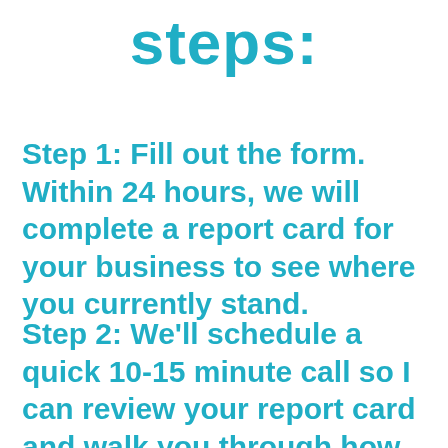steps:
Step 1: Fill out the form. Within 24 hours, we will complete a report card for your business to see where you currently stand.
Step 2: We'll schedule a quick 10-15 minute call so I can review your report card and walk you through how the platform will look for your